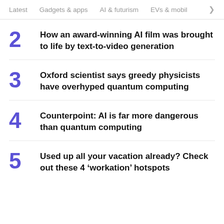Latest   Gadgets & apps   AI & futurism   EVs & mobil  >
2  How an award-winning AI film was brought to life by text-to-video generation
3  Oxford scientist says greedy physicists have overhyped quantum computing
4  Counterpoint: AI is far more dangerous than quantum computing
5  Used up all your vacation already? Check out these 4 ‘workation’ hotspots